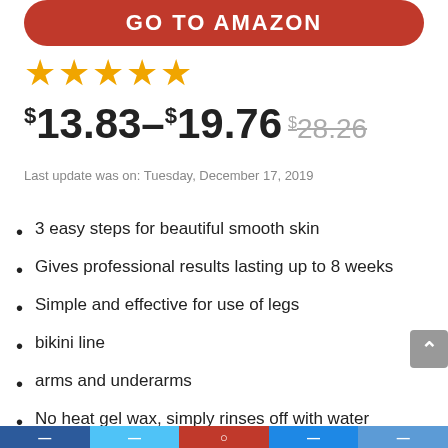[Figure (other): GO TO AMAZON button — red rounded rectangle with white bold text]
★★★★★
$13.83–$19.76 $28.26
Last update was on: Tuesday, December 17, 2019
3 easy steps for beautiful smooth skin
Gives professional results lasting up to 8 weeks
Simple and effective for use of legs
bikini line
arms and underarms
No heat gel wax, simply rinses off with water
Suitable for all skin types. Dermatologically tested